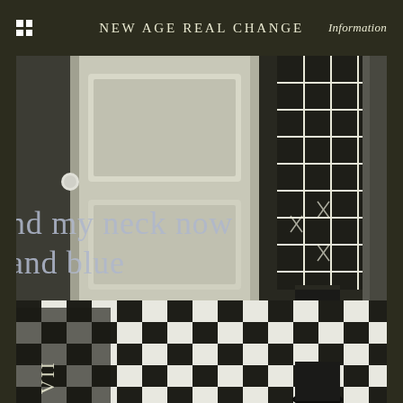NEW AGE REAL CHANGE   Information
[Figure (photo): A person wearing a black and white grid-patterned dress/skirt standing in a room with a black and white checkerboard tile floor, near a white door. The lower body and legs (in black tights/boots) are visible. Text overlaid on the image reads 'nd my neck now' and 'and blue'.]
nd my neck now
and blue
VII